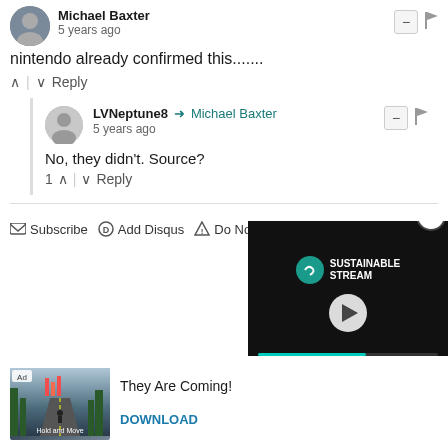Michael Baxter • 5 years ago
nintendo already confirmed this.......
^ | v  Reply
LVNeptune8 → Michael Baxter • 5 years ago
No, they didn't. Source?
1  ^  |  v  Reply
✉ Subscribe  Ⓓ Add Disqus  ⚠ Do Not Sell My Data  DISQUS
[Figure (screenshot): Video player overlay showing Sustainable Stream logo with play button and teal progress bar on dark background]
[Figure (photo): Ad: They Are Coming! game advertisement with road/forest image and DOWNLOAD button]